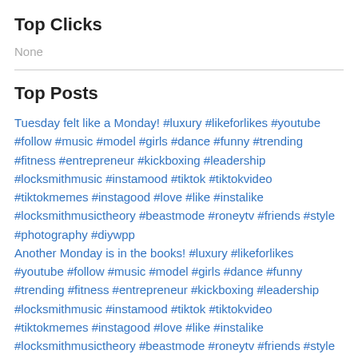Top Clicks
None
Top Posts
Tuesday felt like a Monday! #luxury #likeforlikes #youtube #follow #music #model #girls #dance #funny #trending #fitness #entrepreneur #kickboxing #leadership #locksmithmusic #instamood #tiktok #tiktokvideo #tiktokmemes #instagood #love #like #instalike #locksmithmusictheory #beastmode #roneytv #friends #style #photography #diywpp
Another Monday is in the books! #luxury #likeforlikes #youtube #follow #music #model #girls #dance #funny #trending #fitness #entrepreneur #kickboxing #leadership #locksmithmusic #instamood #tiktok #tiktokvideo #tiktokmemes #instagood #love #like #instalike #locksmithmusictheory #beastmode #roneytv #friends #style #photography #diywpp
Steady wins the marathons! #luxury #likeforlikes #youtube #follow #music #model #girls #dance #funny #trending #fitness #entrepreneur